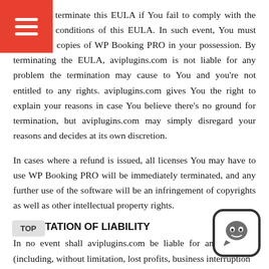terminate this EULA if You fail to comply with the terms and conditions of this EULA. In such event, You must destroy all copies of WP Booking PRO in your possession. By terminating the EULA, aviplugins.com is not liable for any problem the termination may cause to You and you're not entitled to any rights. aviplugins.com gives You the right to explain your reasons in case You believe there's no ground for termination, but aviplugins.com may simply disregard your reasons and decides at its own discretion.
In cases where a refund is issued, all licenses You may have to use WP Booking PRO will be immediately terminated, and any further use of the software will be an infringement of copyrights as well as other intellectual property rights.
7. LIMITATION OF LIABILITY
In no event shall aviplugins.com be liable for any damages (including, without limitation, lost profits, business interruption